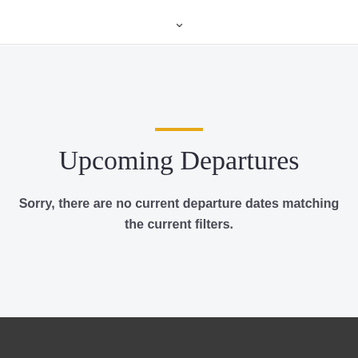∨
Upcoming Departures
Sorry, there are no current departure dates matching the current filters.